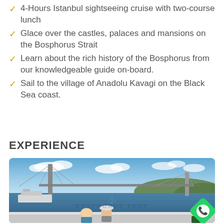4-Hours Istanbul sightseeing cruise with two-course lunch
Glace over the castles, palaces and mansions on the Bosphorus Strait
Learn about the rich history of the Bosphorus from our knowledgeable guide on-board.
Sail to the village of Anadolu Kavagi on the Black Sea coast.
EXPERIENCE
[Figure (photo): Photo taken from a cruise boat showing the Bosphorus Bridge (suspension bridge) with blue sky and water, a ferry vessel, hills in the background, and people on the boat deck in the foreground. A Bosphorus Tour watermark/logo is visible. A WhatsApp button appears in the bottom-right corner.]